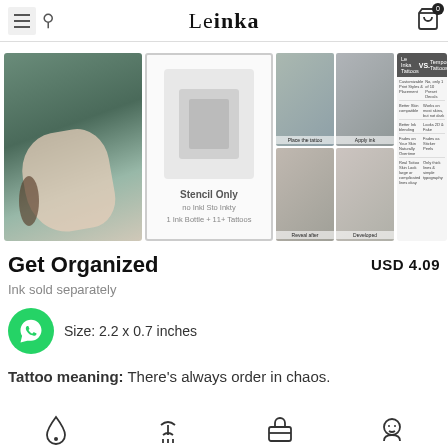Le Inka
[Figure (photo): Product image gallery showing hand with tattoo, stencil kit packaging, application steps grid, and comparison chart]
Get Organized
USD 4.09
Ink sold separately
Size: 2.2 x 0.7 inches
Tattoo meaning: There's always order in chaos.
[Figure (illustration): Bottom feature icons row]